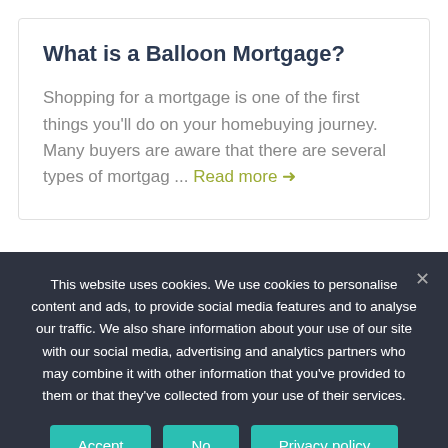What is a Balloon Mortgage?
Shopping for a mortgage is one of the first things you'll do on your homebuying journey. Many buyers are aware that there are several types of mortgag ... Read more →
This website uses cookies. We use cookies to personalise content and ads, to provide social media features and to analyse our traffic. We also share information about your use of our site with our social media, advertising and analytics partners who may combine it with other information that you've provided to them or that they've collected from your use of their services.